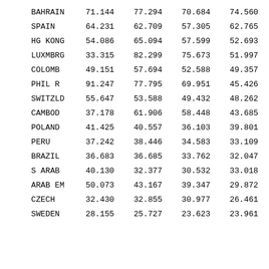| BAHRAIN | 71.144 | 77.294 | 70.684 | 74.560 |
| SPAIN | 64.231 | 62.709 | 57.305 | 62.765 |
| HG KONG | 54.086 | 65.094 | 57.599 | 52.693 |
| LUXMBRG | 33.315 | 82.299 | 75.673 | 51.997 |
| COLOMB | 49.151 | 57.694 | 52.588 | 49.357 |
| PHIL R | 91.247 | 77.795 | 69.951 | 45.426 |
| SWITZLD | 55.647 | 53.588 | 49.432 | 48.262 |
| CAMBOD | 37.178 | 61.906 | 58.448 | 43.685 |
| POLAND | 41.425 | 40.557 | 36.103 | 39.801 |
| PERU | 37.242 | 38.446 | 34.583 | 33.109 |
| BRAZIL | 36.683 | 36.685 | 33.762 | 32.047 |
| S ARAB | 40.130 | 32.377 | 30.532 | 33.018 |
| ARAB EM | 50.073 | 43.167 | 39.347 | 29.872 |
| CZECH | 32.430 | 32.855 | 30.977 | 26.461 |
| SWEDEN | 28.155 | 25.727 | 23.623 | 23.961 |